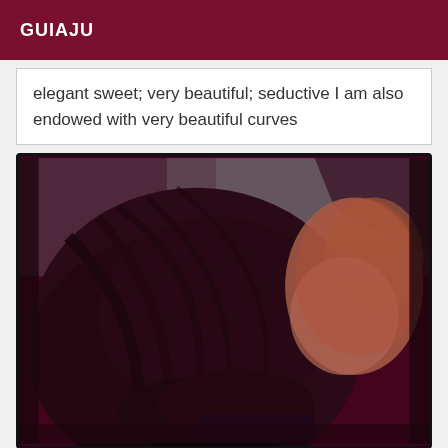GUIAJU
elegant sweet; very beautiful; seductive I am also endowed with very beautiful curves
[Figure (photo): A person with long dark hair viewed from behind/side, posed in a dark reddish-toned photograph]